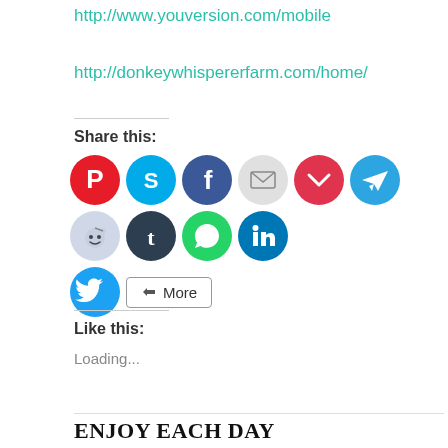http://www.youversion.com/mobile
http://donkeywhispererfarm.com/home/
Share this:
[Figure (other): Social sharing icons: Pinterest, Skype, Facebook, Email, Pocket, Telegram, Reddit, Tumblr, WhatsApp, LinkedIn, Twitter, and a More button]
Like this:
Loading...
ENJOY EACH DAY